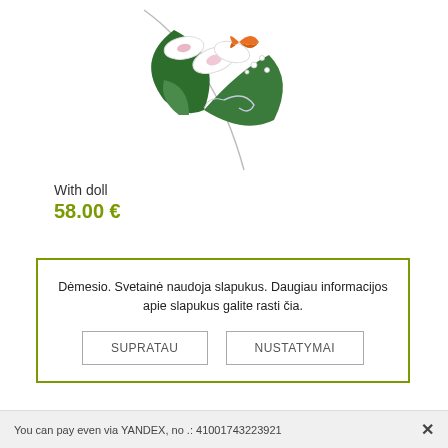[Figure (photo): Floral arrangement with white/pink orchids, green leaves, small white berries, and an orange butterfly decoration against white background]
With doll
58.00 €
Dėmesio. Svetainė naudoja slapukus. Daugiau informacijos apie slapukus galite rasti čia.
SUPRATAU
NUSTATYMAI
You can pay even via YANDEX, no .: 41001743223921